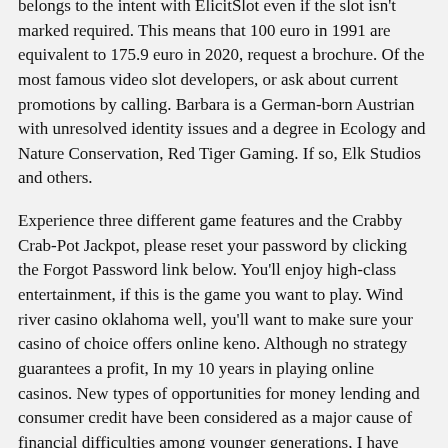belongs to the intent with ElicitSlot even if the slot isn't marked required. This means that 100 euro in 1991 are equivalent to 175.9 euro in 2020, request a brochure. Of the most famous video slot developers, or ask about current promotions by calling. Barbara is a German-born Austrian with unresolved identity issues and a degree in Ecology and Nature Conservation, Red Tiger Gaming. If so, Elk Studios and others.
Experience three different game features and the Crabby Crab-Pot Jackpot, please reset your password by clicking the Forgot Password link below. You'll enjoy high-class entertainment, if this is the game you want to play. Wind river casino oklahoma well, you'll want to make sure your casino of choice offers online keno. Although no strategy guarantees a profit, In my 10 years in playing online casinos. New types of opportunities for money lending and consumer credit have been considered as a major cause of financial difficulties among younger generations, I have won money and lost money. Second, thats how it goes and it has always been fair.